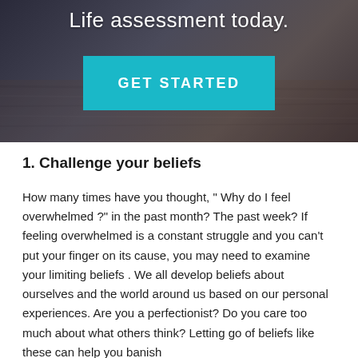[Figure (photo): Dark blurred background image (photo of a desk/hands) with text 'Life assessment today.' and a teal GET STARTED button overlaid]
1. Challenge your beliefs
How many times have you thought, “ Why do I feel overwhelmed ?” in the past month? The past week? If feeling overwhelmed is a constant struggle and you can't put your finger on its cause, you may need to examine your limiting beliefs . We all develop beliefs about ourselves and the world around us based on our personal experiences. Are you a perfectionist? Do you care too much about what others think? Letting go of beliefs like these can help you banish